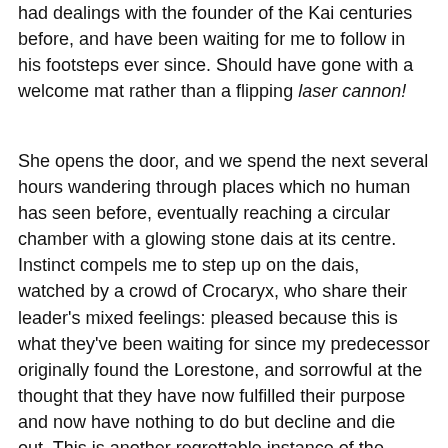had dealings with the founder of the Kai centuries before, and have been waiting for me to follow in his footsteps ever since. Should have gone with a welcome mat rather than a flipping laser cannon!
She opens the door, and we spend the next several hours wandering through places which no human has seen before, eventually reaching a circular chamber with a glowing stone dais at its centre. Instinct compels me to step up on the dais, watched by a crowd of Crocaryx, who share their leader's mixed feelings: pleased because this is what they've been waiting for since my predecessor originally found the Lorestone, and sorrowful at the thought that they have now fulfilled their purpose and now have nothing to do but decline and die out. This is another regrettable instance of the Lone Wolf series drawing on pulp tropes now recognised as being pretty vile - the idea of the indigenous populace only being there to tend and protect things until the right people come along to claim them, after which they become dispensable, has fed into plenty of real-world atrocities. Still, I'm sure none of the noxious associations were in Joe Dever's mind when he wrote this, so I shan't go on about it.